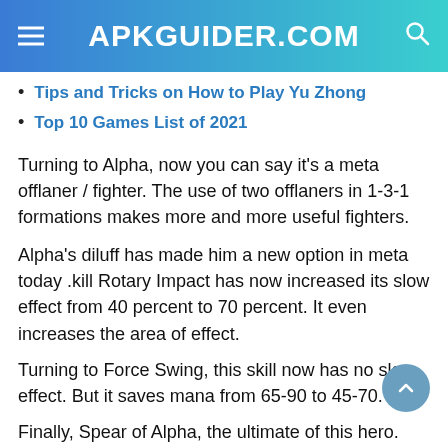APKGUIDER.COM
Tips and Tricks on How to Play Yu Zhong
Top 10 Games List of 2021
Turning to Alpha, now you can say it's a meta offlaner / fighter. The use of two offlaners in 1-3-1 formations makes more and more useful fighters.
Alpha's diluff has made him a new option in meta today .kill Rotary Impact has now increased its slow effect from 40 percent to 70 percent. It even increases the area of effect.
Turning to Force Swing, this skill now has no slow effect. But it saves mana from 65-90 to 45-70.
Finally, Spear of Alpha, the ultimate of this hero. Now, the